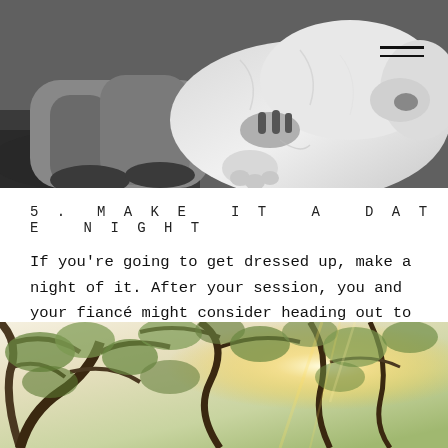[Figure (photo): Black and white photo of a person lying in grass with a large fluffy light-colored dog, with hamburger menu icon in top right corner]
5. MAKE IT A DATE NIGHT
If you're going to get dressed up, make a night of it. After your session, you and your fiancé might consider heading out to dinner or drinks.
[Figure (photo): Color photo of bright sunlight filtering through green tree canopy and branches]